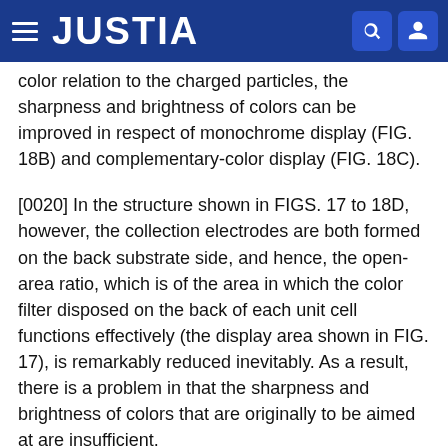JUSTIA
color relation to the charged particles, the sharpness and brightness of colors can be improved in respect of monochrome display (FIG. 18B) and complementary-color display (FIG. 18C).
[0020] In the structure shown in FIGS. 17 to 18D, however, the collection electrodes are both formed on the back substrate side, and hence, the open-area ratio, which is of the area in which the color filter disposed on the back of each unit cell functions effectively (the display area shown in FIG. 17), is remarkably reduced inevitably. As a result, there is a problem in that the sharpness and brightness of colors that are originally to be aimed at are insufficient.
[0021] Use of not the color filter but the colored insulating liquid enables avoidance of the above problem to a certain extent. In such a case, however,